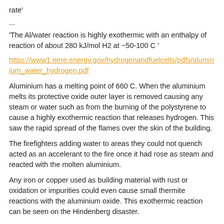rate'
...
'The Al/water reaction is highly exothermic with an enthalpy of reaction of about 280 kJ/mol H2 at ~50-100 C '
https://www1.eere.energy.gov/hydrogenandfuelcells/pdfs/aluminium_water_hydrogen.pdf
Aluminium has a melting point of 660 C. When the aluminium melts its protective oxide outer layer is removed causing any steam or water such as from the burning of the polystyrene to cause a highly exothermic reaction that releases hydrogen. This saw the rapid spread of the flames over the skin of the building.
The firefighters adding water to areas they could not quench acted as an accelerant to the fire once it had rose as steam and reacted with the molten aluminium.
Any iron or copper used as building material with rust or oxidation or impurities could even cause small thermite reactions with the aluminium oxide. This exothermic reaction can be seen on the Hindenberg disaster.